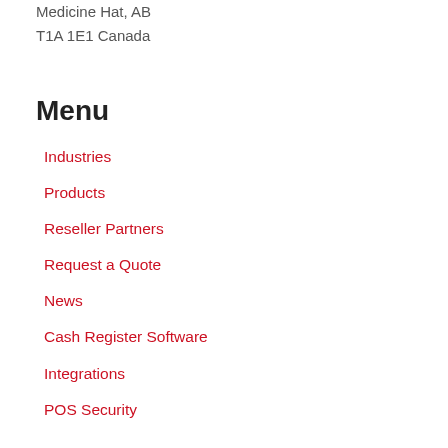Medicine Hat, AB
T1A 1E1 Canada
Menu
Industries
Products
Reseller Partners
Request a Quote
News
Cash Register Software
Integrations
POS Security